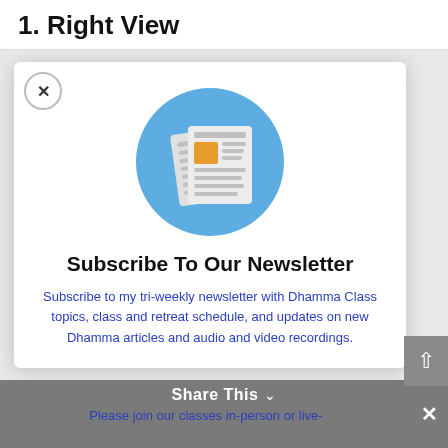1. Right View
[Figure (illustration): Newspaper icon on a blue circle background — two overlapping newspaper pages with text lines and an orange square image placeholder]
Subscribe To Our Newsletter
Subscribe to my tri-weekly newsletter with Dhamma Class topics, class and retreat schedule, and updates on new Dhamma articles and audio and video recordings.
Share This
Please join our classes in-person or live-